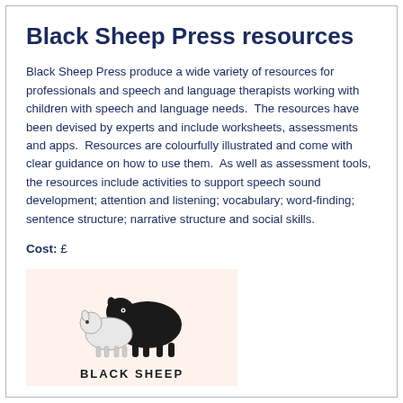Black Sheep Press resources
Black Sheep Press produce a wide variety of resources for professionals and speech and language therapists working with children with speech and language needs.  The resources have been devised by experts and include worksheets, assessments and apps.  Resources are colourfully illustrated and come with clear guidance on how to use them.  As well as assessment tools, the resources include activities to support speech sound development; attention and listening; vocabulary; word-finding; sentence structure; narrative structure and social skills.
Cost: £
[Figure (logo): Black Sheep Press logo: illustration of a black sheep and a white sheep with text 'BLACK SHEEP' below, on a light peach/cream background]